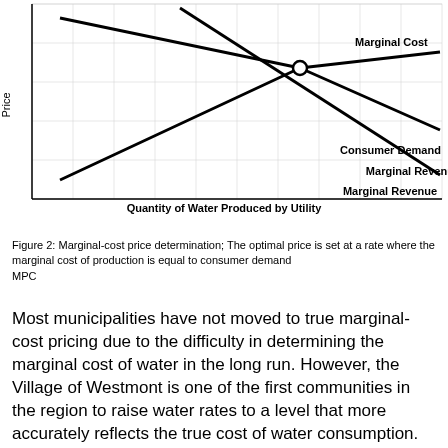[Figure (continuous-plot): Economic diagram showing Marginal Cost (upward sloping), Consumer Demand (downward sloping), and Marginal Revenue (downward sloping, steeper) curves intersecting. The intersection of Marginal Cost and Consumer Demand is marked with an open circle. Y-axis labeled 'Price', x-axis labeled 'Quantity of Water Produced by Utility'.]
Figure 2: Marginal-cost price determination; The optimal price is set at a rate where the
marginal cost of production is equal to consumer demand
MPC
Most municipalities have not moved to true marginal-cost pricing due to the difficulty in determining the marginal cost of water in the long run. However, the Village of Westmont is one of the first communities in the region to raise water rates to a level that more accurately reflects the true cost of water consumption. Mike Ramsey, public works supervisor for Westmont, says that the department decided to raise the price of water in order to generate enough revenue to cover necessary infrastructure improvement costs for the